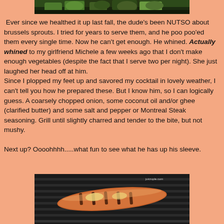[Figure (photo): Top portion of a food photo showing green vegetables (brussels sprouts) on a dark plate]
Ever since we healthed it up last fall, the dude's been NUTSO about brussels sprouts. I tried for years to serve them, and he poo poo'ed them every single time. Now he can't get enough. He whined. Actually whined to my girlfriend Michele a few weeks ago that I don't make enough vegetables (despite the fact that I serve two per night). She just laughed her head off at him.
Since I plopped my feet up and savored my cocktail in lovely weather, I can't tell you how he prepared these. But I know him, so I can logically guess. A coarsely chopped onion, some coconut oil and/or ghee (clarified butter) and some salt and pepper or Montreal Steak seasoning. Grill until slightly charred and tender to the bite, but not mushy.

Next up? Oooohhhh.....what fun to see what he has up his sleeve.
[Figure (photo): Photo of grilled food (appears to be meat or seafood) on a grill grate, with watermark juicruple.com]